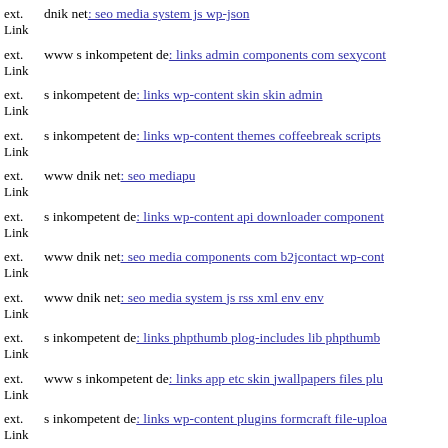ext. Link dnik net: seo media system js wp-json
ext. Link www s inkompetent de: links admin components com sexycont
ext. Link s inkompetent de: links wp-content skin skin admin
ext. Link s inkompetent de: links wp-content themes coffeebreak scripts
ext. Link www dnik net: seo mediapu
ext. Link s inkompetent de: links wp-content api downloader component
ext. Link www dnik net: seo media components com b2jcontact wp-cont
ext. Link www dnik net: seo media system js rss xml env env
ext. Link s inkompetent de: links phpthumb plog-includes lib phpthumb
ext. Link www s inkompetent de: links app etc skin jwallpapers files plu
ext. Link s inkompetent de: links wp-content plugins formcraft file-uploa
ext. Link